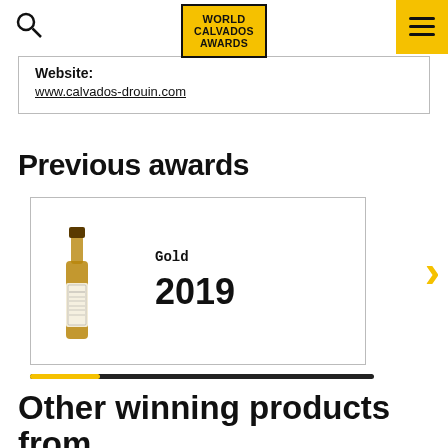World Calvados Awards
Website:
www.calvados-drouin.com
Previous awards
[Figure (photo): Award card showing a bottle of Calvados with Gold 2019 label]
Other winning products from Calvados Christian Drouin